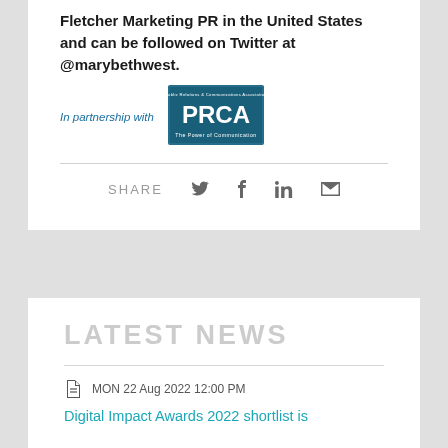Fletcher Marketing PR in the United States and can be followed on Twitter at @marybethwest.
[Figure (logo): PRCA - Public Relations & Communications Association logo with tagline 'The Power of Communication']
In partnership with
SHARE
LATEST NEWS
MON 22 Aug 2022 12:00 PM
Digital Impact Awards 2022 shortlist is